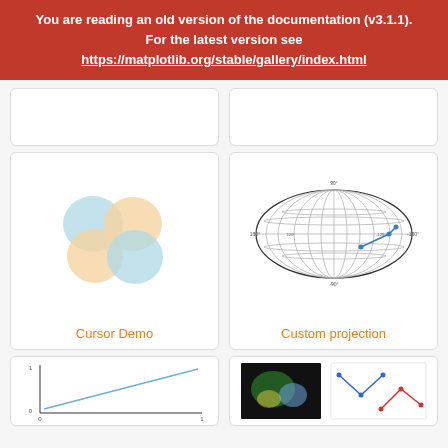You are reading an old version of the documentation (v3.1.1). For the latest version see https://matplotlib.org/stable/gallery/index.html
[Figure (illustration): Partial view of a gallery card (top, mostly cropped)]
[Figure (illustration): Partial view of a gallery card (top, mostly cropped)]
[Figure (illustration): Cursor Demo - four colored blobs (blue and orange/yellow) arranged in a clover pattern]
Cursor Demo
[Figure (engineering-diagram): Custom projection - Mollweide/hammer projection globe with grid lines and a blue path]
Custom projection
[Figure (line-chart): Partial view of bottom gallery card - diagonal line chart]
[Figure (illustration): Partial view of bottom gallery card - colorful scatter/image combo]